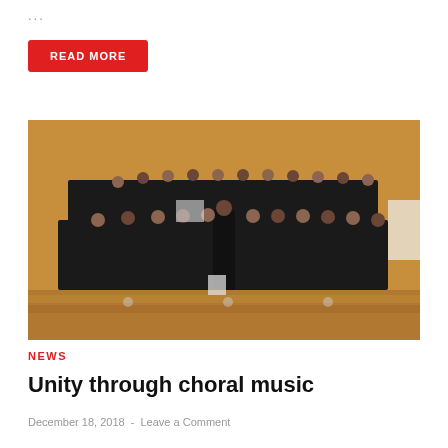...
READ MORE
[Figure (photo): A large choir group in formal black attire performing on a stage with warm golden/orange curtains in the background. A conductor stands center front. The choir has multiple rows of singers.]
NEWS
Unity through choral music
December 18, 2018  -  Leave a Comment